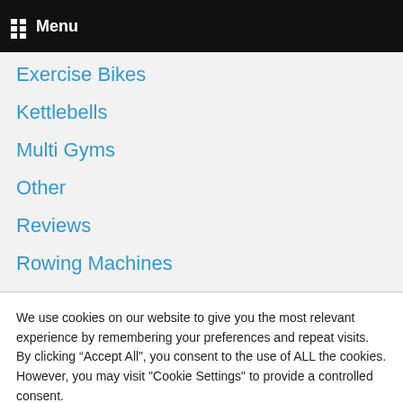Menu
Exercise Bikes
Kettlebells
Multi Gyms
Other
Reviews
Rowing Machines
We use cookies on our website to give you the most relevant experience by remembering your preferences and repeat visits. By clicking “Accept All”, you consent to the use of ALL the cookies. However, you may visit "Cookie Settings" to provide a controlled consent.
Cookie Settings | Accept All